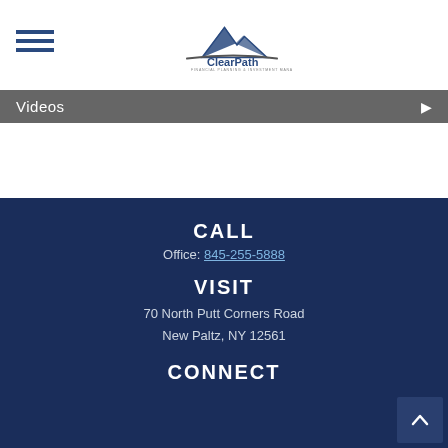[Figure (logo): ClearPath Advisor logo with mountain peaks graphic and text 'ClearPath FINANCIAL PLANNING & INVESTMENT MANAGEMENT']
Videos
CALL
Office: 845-255-5888
VISIT
70 North Putt Corners Road
New Paltz, NY 12561
CONNECT